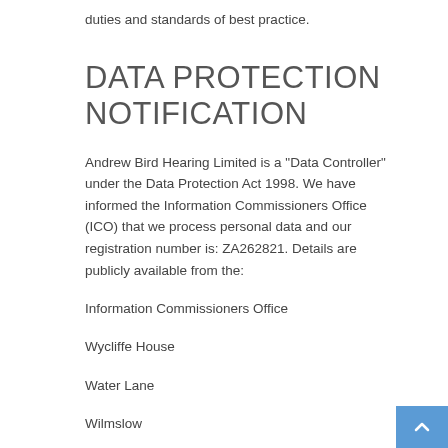duties and standards of best practice.
DATA PROTECTION NOTIFICATION
Andrew Bird Hearing Limited is a "Data Controller" under the Data Protection Act 1998. We have informed the Information Commissioners Office (ICO) that we process personal data and our registration number is: ZA262821. Details are publicly available from the:
Information Commissioners Office
Wycliffe House
Water Lane
Wilmslow
SK9 5AF
ico.org.uk